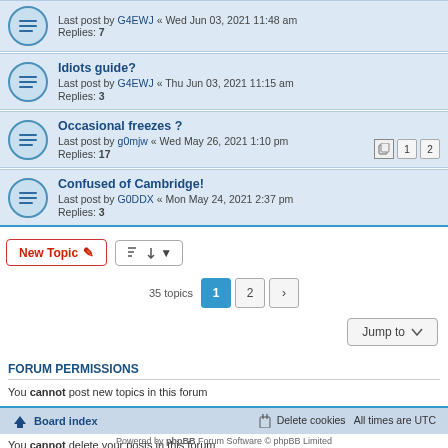Idiots guide? Last post by G4EWJ « Thu Jun 03, 2021 11:15 am Replies: 3
Occasional freezes ? Last post by g0mjw « Wed May 26, 2021 1:10 pm Replies: 17
Confused of Cambridge! Last post by G0DDX « Mon May 24, 2021 2:37 pm Replies: 3
New Topic | Sort | 35 topics 1 2 > | Jump to
FORUM PERMISSIONS
You cannot post new topics in this forum
You cannot reply to topics in this forum
You cannot edit your posts in this forum
You cannot delete your posts in this forum
You cannot post attachments in this forum
Board index | Delete cookies | All times are UTC